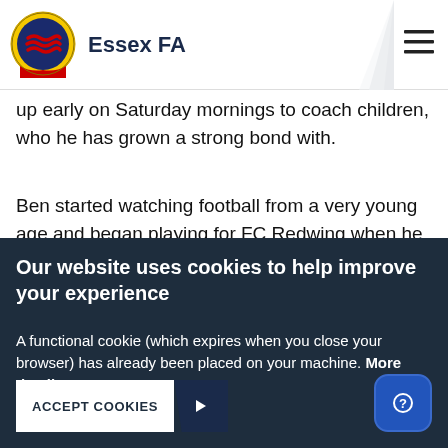Essex FA
up early on Saturday mornings to coach children, who he has grown a strong bond with.
Ben started watching football from a very young age and began playing for FC Redwing when he became ten. He still plays now for one of Redwing's Under 16s teams but only started coaching in August 2018. “Some of my mates
Our website uses cookies to help improve your experience
A functional cookie (which expires when you close your browser) has already been placed on your machine. More details